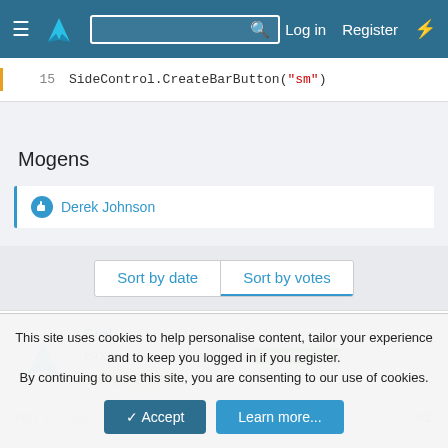Log in  Register
[Figure (screenshot): Code snippet showing line 15: SideControl.CreateBarButton("sm")]
Mogens
Derek Johnson
Sort by date  Sort by votes
Erel
B4X founder  Staff member  Licensed User  Longtime User
Nov 16, 2014  #2
This site uses cookies to help personalise content, tailor your experience and to keep you logged in if you register.
By continuing to use this site, you are consenting to our use of cookies.